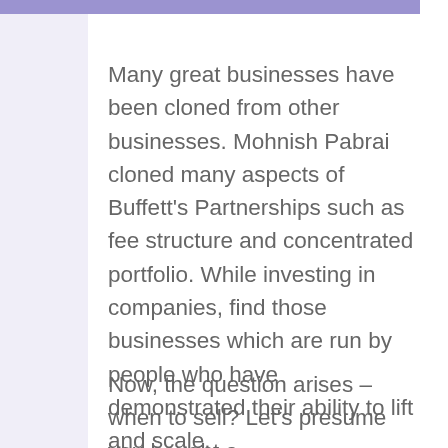Many great businesses have been cloned from other businesses. Mohnish Pabrai cloned many aspects of Buffett's Partnerships such as fee structure and concentrated portfolio. While investing in companies, find those businesses which are run by people who have demonstrated their ability to lift and scale.
Now, the question arises – when to sell? Let's presume you bought a